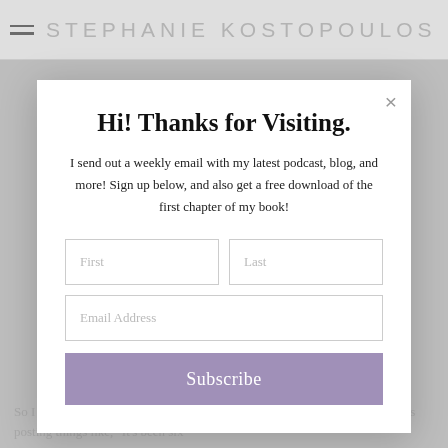STEPHANIE KOSTOPOULOS
[Figure (screenshot): Modal popup overlay on a website. Contains a newsletter signup form with title 'Hi! Thanks for Visiting.', descriptive text, First/Last name fields, Email Address field, and a Subscribe button. A close (×) button is in the top-right corner of the modal.]
Hi! Thanks for Visiting.
I send out a weekly email with my latest podcast, blog, and more! Sign up below, and also get a free download of the first chapter of my book!
So I think particularly about a friend who lost her mom to COVID. And she's posting things like, "It's been six